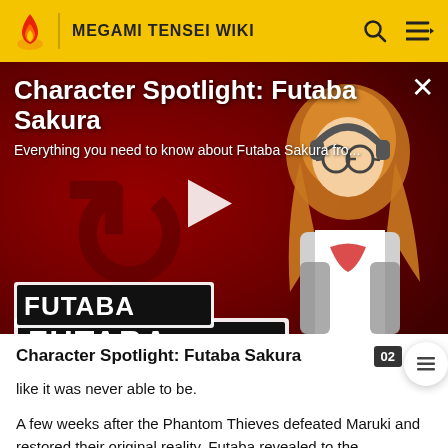MEGAMI TENSEI WIKI
[Figure (screenshot): Video thumbnail for 'Character Spotlight: Futaba Sakura' showing anime character Futaba Sakura with orange hair, glasses, and headphones against a dark red background with the FUTABA logo. A white play button triangle is centered on the image. Top text reads 'Character Spotlight: Futaba Sakura' and 'Everything you need to know about Futaba Sakura fro...' with a close (X) button in the top right.]
Character Spotlight: Futaba Sakura
like it was never able to be.
A few weeks after the Phantom Thieves defeated Maruki and restored their original reality. Futaba revealed to the